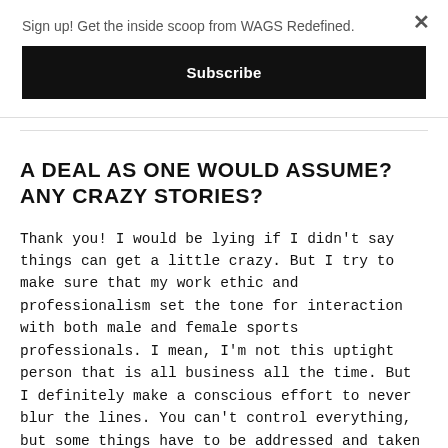Sign up! Get the inside scoop from WAGS Redefined.
Subscribe
A DEAL AS ONE WOULD ASSUME? ANY CRAZY STORIES?
Thank you! I would be lying if I didn't say things can get a little crazy. But I try to make sure that my work ethic and professionalism set the tone for interaction with both male and female sports professionals. I mean, I'm not this uptight person that is all business all the time. But I definitely make a conscious effort to never blur the lines. You can't control everything, but some things have to be addressed and taken care of before it even gets the chance to get out of hand.